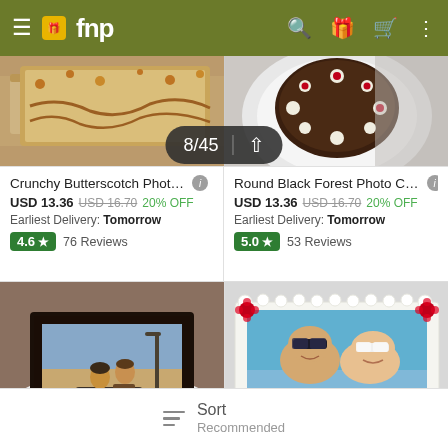fnp — navigation bar with hamburger menu, logo, search, gift, cart, and more icons
[Figure (screenshot): Top half of two product photo cakes — left: butterscotch rectangular cake, right: round black forest cake on plate]
8/45 ↑ (pagination badge overlay)
Crunchy Butterscotch Phot…  ⓘ
USD 13.36  USD 16.70  20% OFF
Earliest Delivery: Tomorrow
4.6 ★  76 Reviews
Round Black Forest Photo C…  ⓘ
USD 13.36  USD 16.70  20% OFF
Earliest Delivery: Tomorrow
5.0 ★  53 Reviews
[Figure (photo): Square chocolate photo cake with a couple on a motorcycle, dark chocolate frosting border, on a white plate]
[Figure (photo): Rectangular white cream photo cake with a couple wearing sunglasses, red roses decorating corners]
Sort  Recommended